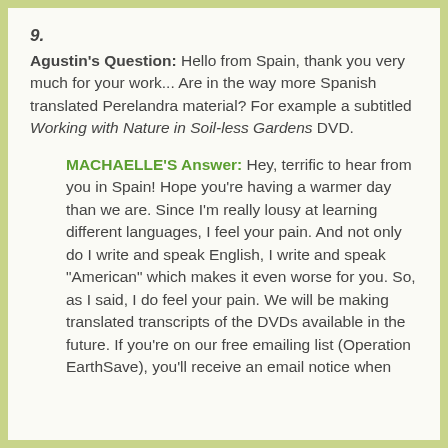9.
Agustin's Question: Hello from Spain, thank you very much for your work... Are in the way more Spanish translated Perelandra material? For example a subtitled Working with Nature in Soil-less Gardens DVD.
MACHAELLE'S Answer: Hey, terrific to hear from you in Spain! Hope you're having a warmer day than we are. Since I'm really lousy at learning different languages, I feel your pain. And not only do I write and speak English, I write and speak "American" which makes it even worse for you. So, as I said, I do feel your pain. We will be making translated transcripts of the DVDs available in the future. If you're on our free emailing list (Operation EarthSave), you'll receive an email notice when